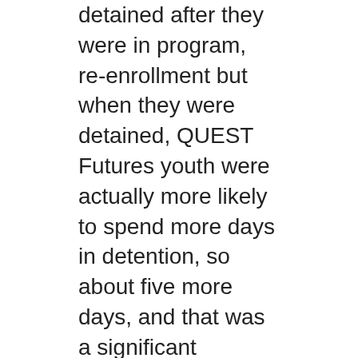detained after they were in program, re-enrollment but when they were detained, QUEST Futures youth were actually more likely to spend more days in detention, so about five more days, and that was a significant difference. So that's definitely not ideal and something we have to look at in terms of practicing and policy implications. A couple of the reasons might be that this might indicate a greater awareness of the judge and other court stakeholders in knowing about the complex mental health needs of youth, and so that contributes to longer detention stays because they might not have the appropriate care in the community. It might show a potential supervision effect and this means that closer monitoring by the program and also by the court might...